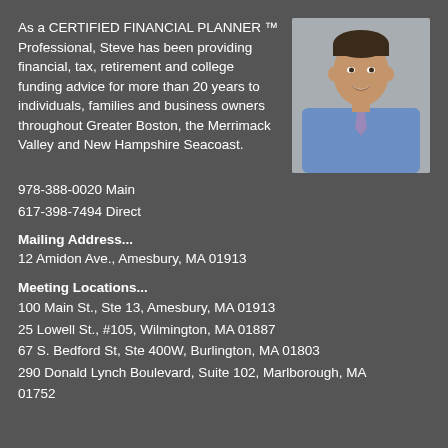As a CERTIFIED FINANCIAL PLANNER ™ Professional, Steve has been providing financial, tax, retirement and college funding advice for more than 20 years to individuals, families and business owners throughout Greater Boston, the Merrimack Valley and New Hampshire Seacoast.
[Figure (photo): Headshot of a smiling man in a blue dress shirt and purple tie, gray background]
978-388-0020 Main
617-398-7494 Direct
Mailing Address...
12 Amidon Ave., Amesbury, MA 01913
Meeting Locations...
100 Main St., Ste 13, Amesbury, MA 01913
25 Lowell St., #105, Wilmington, MA 01887
67 S. Bedford St, Ste 400W, Burlington, MA 01803
290 Donald Lynch Boulevard, Suite 102, Marlborough, MA 01752